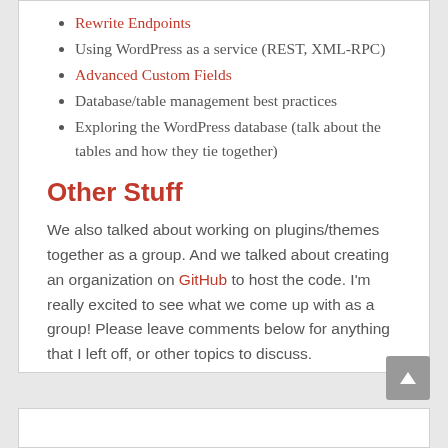Rewrite Endpoints
Using WordPress as a service (REST, XML-RPC)
Advanced Custom Fields
Database/table management best practices
Exploring the WordPress database (talk about the tables and how they tie together)
Other Stuff
We also talked about working on plugins/themes together as a group. And we talked about creating an organization on GitHub to host the code. I'm really excited to see what we come up with as a group! Please leave comments below for anything that I left off, or other topics to discuss.